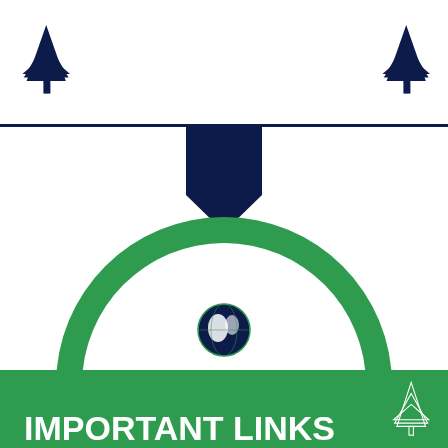[Figure (infographic): Hit counter infographic with green circular badge, dark navy arrow shapes top and bottom, two pine tree icons in top corners, globe icon inside circle, text 'HIT COUNTER' and '93793'. Bottom green banner with 'IMPORTANT LINKS' text and outline pine tree icon in bottom right.]